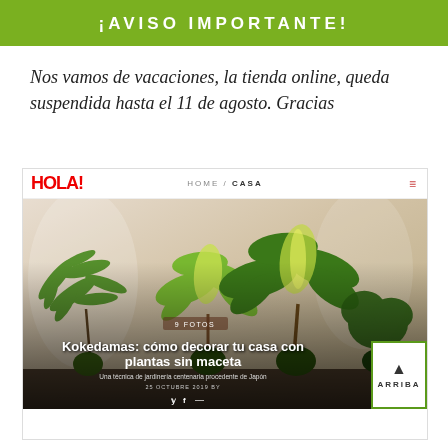¡AVISO IMPORTANTE!
Nos vamos de vacaciones, la tienda online, queda suspendida hasta el 11 de agosto. Gracias
[Figure (screenshot): Screenshot of the HOLA! website showing a gardening article about Kokedamas with the headline 'Kokedamas: cómo decorar tu casa con plantas sin maceta' and subtitle 'Una técnica de jardinería centenaria procedente de Japón', with an 'ARRIBA' back-to-top button in the bottom right corner.]